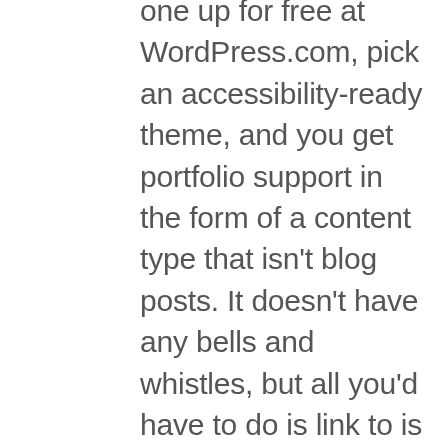one up for free at WordPress.com, pick an accessibility-ready theme, and you get portfolio support in the form of a content type that isn't blog posts. It doesn't have any bells and whistles, but all you'd have to do is link to is in your menu, and tweet or facebook or post to linkedin the stuff you put in there. If I had to make one criticism about FLOSS projects, including WordPress, it's that we